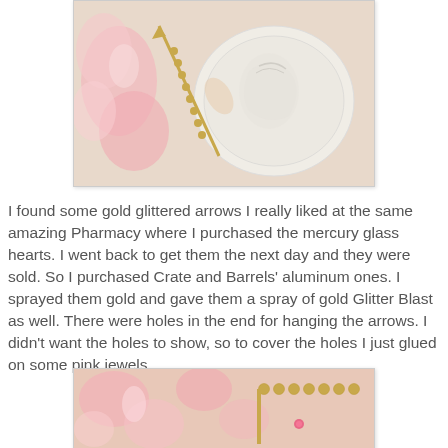[Figure (photo): Close-up photo of gold glittered arrow with beaded chain alongside a white embossed cameo-style decorative plate, surrounded by pink floral elements]
I found some gold glittered arrows I really liked at the same amazing Pharmacy where I purchased the mercury glass hearts.  I went back to get them the next day and they were sold.  So I purchased Crate and Barrels' aluminum ones.  I sprayed them gold and gave them a spray of gold Glitter Blast as well.  There were holes in the end for hanging the arrows.  I didn't want the holes to show, so to cover the holes I just glued on some pink jewels.
[Figure (photo): Close-up photo of gold beaded chain arrow against pink floral fabric background]